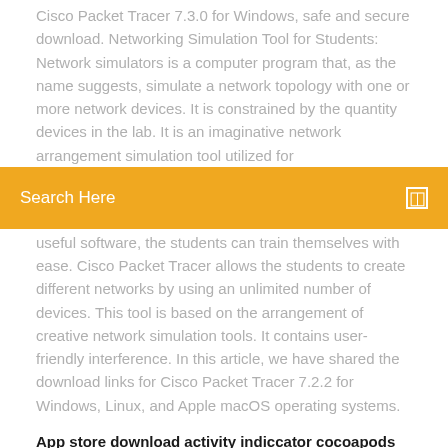Cisco Packet Tracer 7.3.0 for Windows, safe and secure download. Networking Simulation Tool for Students: Network simulators is a computer program that, as the name suggests, simulate a network topology with one or more network devices. It is constrained by the quantity devices in the lab. It is an imaginative network arrangement simulation tool utilized for
[Figure (other): Orange search bar with text 'Search Here' and a small square icon on the right]
useful software, the students can train themselves with ease. Cisco Packet Tracer allows the students to create different networks by using an unlimited number of devices. This tool is based on the arrangement of creative network simulation tools. It contains user-friendly interference. In this article, we have shared the download links for Cisco Packet Tracer 7.2.2 for Windows, Linux, and Apple macOS operating systems.
App store download activity indiccator cocoapods Hudl technique app download video